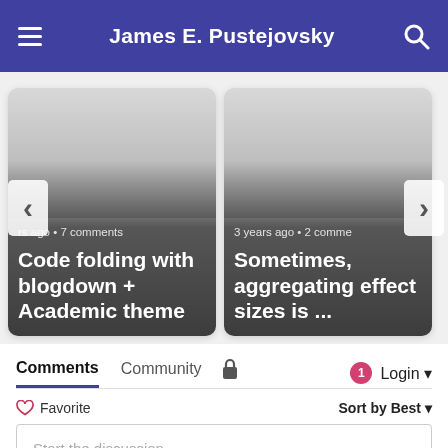James E. Pustejovsky
[Figure (screenshot): Two blog post cards side by side. Left card: 'Code folding with blogdown + Academic theme', with metadata 'rs ago • 7 comments'. Right card: 'Sometimes, aggregating effect sizes is ...', with metadata '3 years ago • 2 comme'. Left and right navigation arrows visible.]
Comments  Community  🔒  1  Login
♡ Favorite  Sort by Best
Start the discussion...
LOG IN WITH